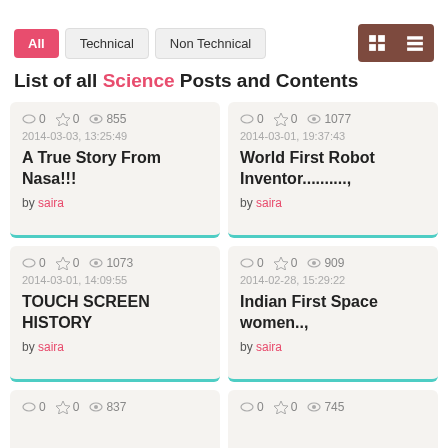All | Technical | Non Technical
List of all Science Posts and Contents
0 comments 0 stars 855 views, 2014-03-03, 13:25:49, A True Story From Nasa!!!, by saira
0 comments 0 stars 1077 views, 2014-03-01, 19:37:43, World First Robot Inventor.........., by saira
0 comments 0 stars 1073 views, 2014-03-01, 14:09:55, TOUCH SCREEN HISTORY, by saira
0 comments 0 stars 909 views, 2014-02-28, 15:29:22, Indian First Space women..,, by saira
0 comments 0 stars 837 views
0 comments 0 stars 745 views